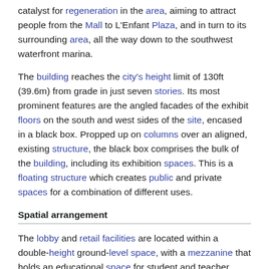catalyst for regeneration in the area, aiming to attract people from the Mall to L'Enfant Plaza, and in turn to its surrounding area, all the way down to the southwest waterfront marina.
The building reaches the city's height limit of 130ft (39.6m) from grade in just seven stories. Its most prominent features are the angled facades of the exhibit floors on the south and west sides of the site, encased in a black box. Propped up on columns over an aligned, existing structure, the black box comprises the bulk of the building, including its exhibition spaces. This is a floating structure which creates public and private spaces for a combination of different uses.
Spatial arrangement
The lobby and retail facilities are located within a double-height ground-level space, with a mezzanine that holds an educational space for student and teacher workshops. Above the ground-level lobby are the museum's three main exhibition areas featuring floor heights of up to 6m. These include the 'Special Exhibitions' floor, the theatre, permanent exhibition and task-finding, as well as the future 'Operation